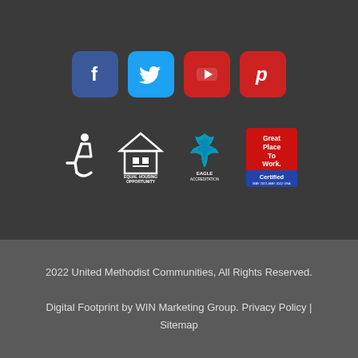[Figure (logo): Social media icons: Facebook (blue rounded square), Twitter (light blue rounded square), YouTube (red rounded square with play button), Pinterest (red rounded square with P)]
[Figure (logo): Certification badges: Wheelchair accessibility icon, Equal Housing Opportunity logo, Eagle Accreditation logo, Great Place To Work Certified badge]
2022 United Methodist Communities, All Rights Reserved.
Digital Footprint by WIN Marketing Group. Privacy Policy | Sitemap